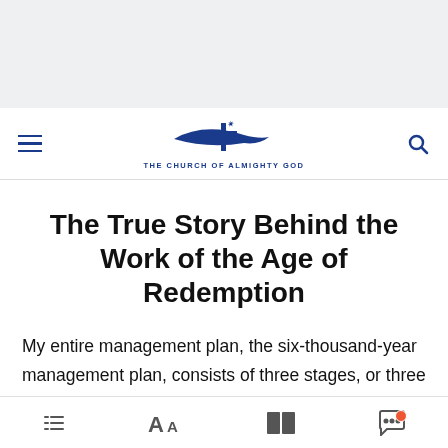THE CHURCH OF ALMIGHTY GOD
The True Story Behind the Work of the Age of Redemption
My entire management plan, the six-thousand-year management plan, consists of three stages, or three ages: the Age of Law of the beginning; the Age of